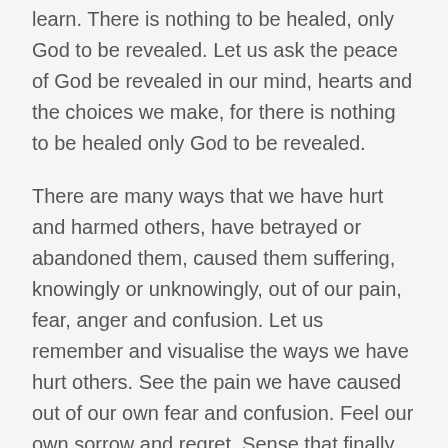learn. There is nothing to be healed, only God to be revealed. Let us ask the peace of God be revealed in our mind, hearts and the choices we make, for there is nothing to be healed only God to be revealed.
There are many ways that we have hurt and harmed others, have betrayed or abandoned them, caused them suffering, knowingly or unknowingly, out of our pain, fear, anger and confusion. Let us remember and visualise the ways we have hurt others.  See the pain we have caused out of our own fear and confusion.  Feel our own sorrow and regret.  Sense that finally we can release the burden and ask for forgiveness (Jack Kornfield).